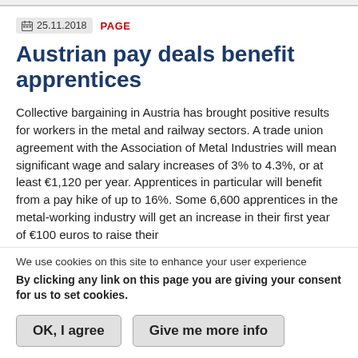25.11.2018 PAGE
Austrian pay deals benefit apprentices
Collective bargaining in Austria has brought positive results for workers in the metal and railway sectors. A trade union agreement with the Association of Metal Industries will mean significant wage and salary increases of 3% to 4.3%, or at least €1,120 per year. Apprentices in particular will benefit from a pay hike of up to 16%. Some 6,600 apprentices in the metal-working industry will get an increase in their first year of €100 euros to raise their
We use cookies on this site to enhance your user experience
By clicking any link on this page you are giving your consent for us to set cookies.